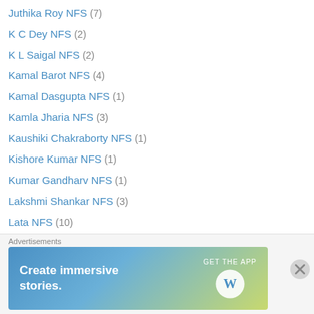Juthika Roy NFS (7)
K C Dey NFS (2)
K L Saigal NFS (2)
Kamal Barot NFS (4)
Kamal Dasgupta NFS (1)
Kamla Jharia NFS (3)
Kaushiki Chakraborty NFS (1)
Kishore Kumar NFS (1)
Kumar Gandharv NFS (1)
Lakshmi Shankar NFS (3)
Lata NFS (10)
M S Subbulaxmi NFS (1)
Mahendra Kapoor NFS (3)
Malika Pukhraj NFS (1)
Manna Dey NFS (7)
Master Madan NFS (2)
Master Vasant Amrit NFS (1)
[Figure (other): WordPress advertisement banner: Create immersive stories. GET THE APP with WordPress logo]